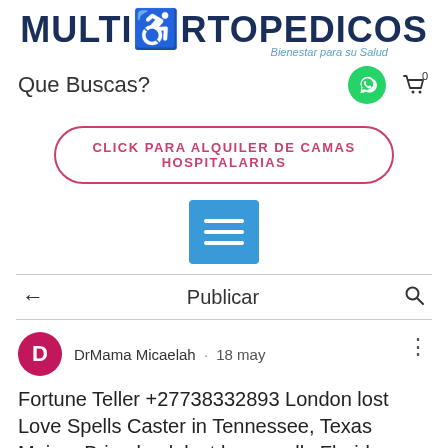[Figure (logo): MultiOrtopedicos logo with wheelchair icon and tagline 'Bienestar para su Salud']
Que Buscas?
[Figure (other): WhatsApp green circle icon and shopping cart icon with 0 badge]
CLICK PARA ALQUILER DE CAMAS HOSPITALARIAS
[Figure (other): Blue hamburger menu button with three white horizontal bars]
← Publicar 🔍
[Figure (other): Pink circle avatar with letter D]
DrMama Micaelah · 18 may
Fortune Teller +27738332893 London lost Love Spells Caster in Tennessee, Texas Maine~Bring back lost love spells Florida USA, Athens, Mason